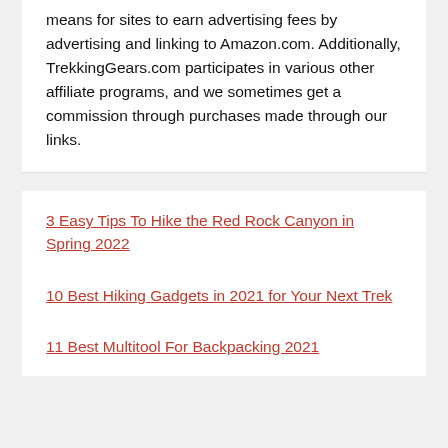means for sites to earn advertising fees by advertising and linking to Amazon.com. Additionally, TrekkingGears.com participates in various other affiliate programs, and we sometimes get a commission through purchases made through our links.
3 Easy Tips To Hike the Red Rock Canyon in Spring 2022
10 Best Hiking Gadgets in 2021 for Your Next Trek
11 Best Multitool For Backpacking 2021